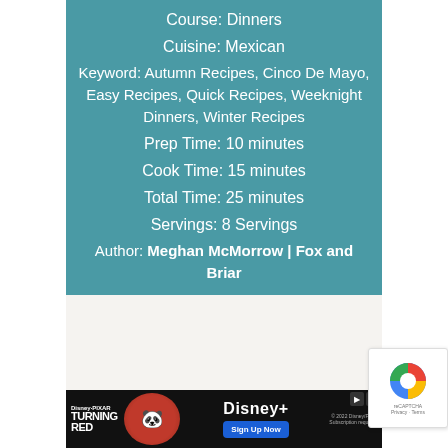Course: Dinners
Cuisine: Mexican
Keyword: Autumn Recipes, Cinco De Mayo, Easy Recipes, Quick Recipes, Weeknight Dinners, Winter Recipes
Prep Time: 10 minutes
Cook Time: 15 minutes
Total Time: 25 minutes
Servings: 8 Servings
Author: Meghan McMorrow | Fox and Briar
[Figure (screenshot): Disney+ Turning Red advertisement banner with Sign Up Now button]
[Figure (logo): reCAPTCHA logo with privacy terms text]